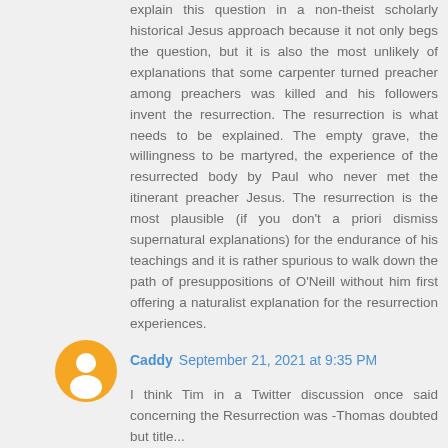explain this question in a non-theist scholarly historical Jesus approach because it not only begs the question, but it is also the most unlikely of explanations that some carpenter turned preacher among preachers was killed and his followers invent the resurrection. The resurrection is what needs to be explained. The empty grave, the willingness to be martyred, the experience of the resurrected body by Paul who never met the itinerant preacher Jesus. The resurrection is the most plausible (if you don't a priori dismiss supernatural explanations) for the endurance of his teachings and it is rather spurious to walk down the path of presuppositions of O'Neill without him first offering a naturalist explanation for the resurrection experiences.
[Figure (illustration): Orange circular avatar with a white blogger/person icon in the center]
Caddy September 21, 2021 at 9:35 PM
I think Tim in a Twitter discussion once said concerning the Resurrection was -Thomas doubted but title...